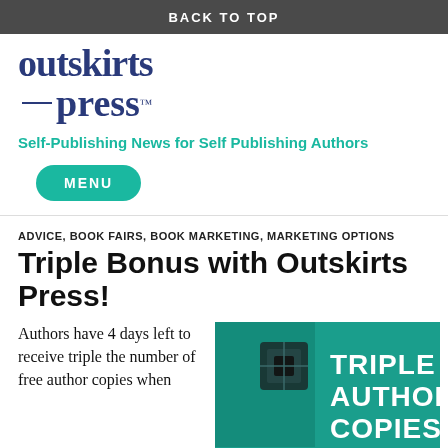BACK TO TOP
[Figure (logo): Outskirts Press logo — stylized serif wordmark with 'outskirts' on top, horizontal dashes, and 'press' below with trademark symbol]
Self-Publishing News for Self Publishing Authors
MENU
ADVICE, BOOK FAIRS, BOOK MARKETING, MARKETING OPTIONS
Triple Bonus with Outskirts Press!
Authors have 4 days left to receive triple the number of free author copies when
[Figure (illustration): Promotional image with teal/green background showing a book and the text 'TRIPLE AUTHOR COPIES' in bold white letters]